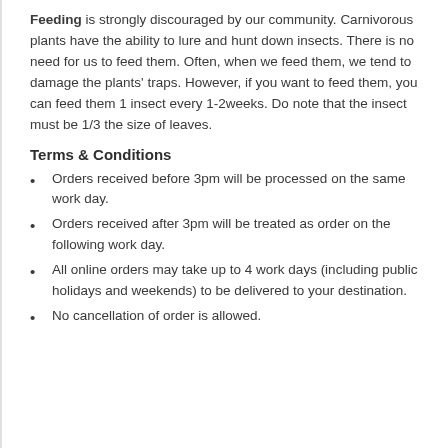Feeding is strongly discouraged by our community. Carnivorous plants have the ability to lure and hunt down insects. There is no need for us to feed them. Often, when we feed them, we tend to damage the plants' traps. However, if you want to feed them, you can feed them 1 insect every 1-2weeks. Do note that the insect must be 1/3 the size of leaves.
Terms & Conditions
Orders received before 3pm will be processed on the same work day.
Orders received after 3pm will be treated as order on the following work day.
All online orders may take up to 4 work days (including public holidays and weekends) to be delivered to your destination.
No cancellation of order is allowed.